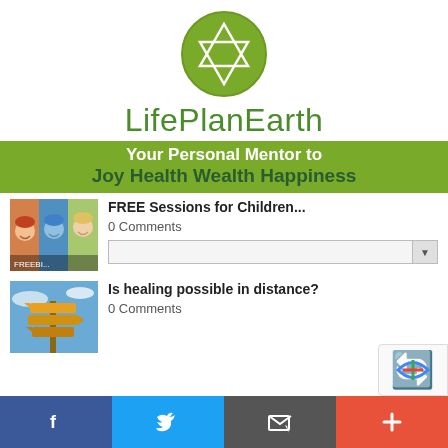[Figure (logo): LifePlanEarth circular logo with Star of David in green]
LifePlanEarth
Your Personal Mentor to Joy Health Wealth Happiness
[Figure (photo): Three children smiling outdoors]
FREE Sessions for Children...
0 Comments
[Figure (photo): Directional signs on a pole against blue sky]
Is healing possible in distance?
0 Comments
[Figure (logo): reCAPTCHA logo partially visible]
f  twitter  email  +